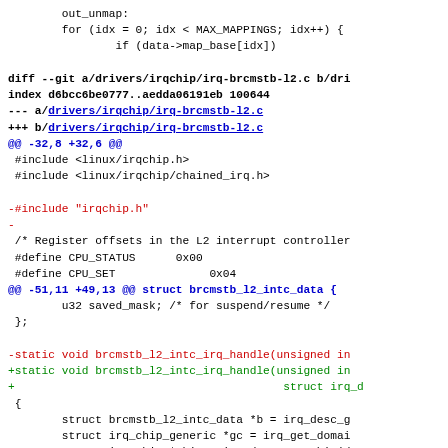Code diff showing changes to drivers/irqchip/irq-brcmstb-l2.c including removal of irqchip.h include and modification of brcmstb_l2_intc_irq_handle function signature